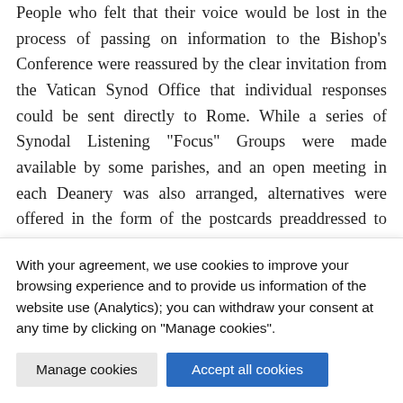People who felt that their voice would be lost in the process of passing on information to the Bishop's Conference were reassured by the clear invitation from the Vatican Synod Office that individual responses could be sent directly to Rome. While a series of Synodal Listening “Focus” Groups were made available by some parishes, and an open meeting in each Deanery was also arranged, alternatives were offered in the form of the postcards preaddressed to Pope Francis and a
With your agreement, we use cookies to improve your browsing experience and to provide us information of the website use (Analytics); you can withdraw your consent at any time by clicking on "Manage cookies".
Manage cookies
Accept all cookies